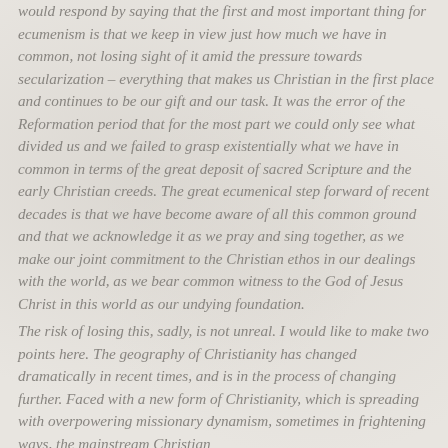would respond by saying that the first and most important thing for ecumenism is that we keep in view just how much we have in common, not losing sight of it amid the pressure towards secularization – everything that makes us Christian in the first place and continues to be our gift and our task. It was the error of the Reformation period that for the most part we could only see what divided us and we failed to grasp existentially what we have in common in terms of the great deposit of sacred Scripture and the early Christian creeds. The great ecumenical step forward of recent decades is that we have become aware of all this common ground and that we acknowledge it as we pray and sing together, as we make our joint commitment to the Christian ethos in our dealings with the world, as we bear common witness to the God of Jesus Christ in this world as our undying foundation.
The risk of losing this, sadly, is not unreal. I would like to make two points here. The geography of Christianity has changed dramatically in recent times, and is in the process of changing further. Faced with a new form of Christianity, which is spreading with overpowering missionary dynamism, sometimes in frightening ways, the mainstream Christian